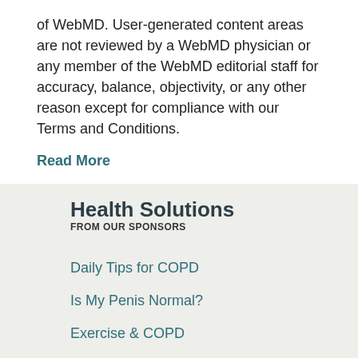of WebMD. User-generated content areas are not reviewed by a WebMD physician or any member of the WebMD editorial staff for accuracy, balance, objectivity, or any other reason except for compliance with our Terms and Conditions.
Read More
Health Solutions
FROM OUR SPONSORS
Daily Tips for COPD
Is My Penis Normal?
Exercise & COPD
Vaginal Health
Treating Lung Cancer
ADVERTISEMENT